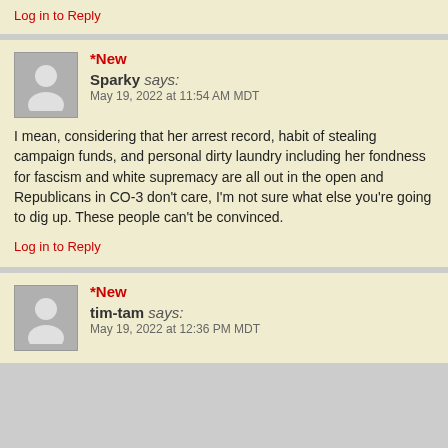Log in to Reply
*New
Sparky says:
May 19, 2022 at 11:54 AM MDT
I mean, considering that her arrest record, habit of stealing campaign funds, and personal dirty laundry including her fondness for fascism and white supremacy are all out in the open and Republicans in CO-3 don't care, I'm not sure what else you're going to dig up. These people can't be convinced.
Log in to Reply
*New
tim-tam says:
May 19, 2022 at 12:36 PM MDT